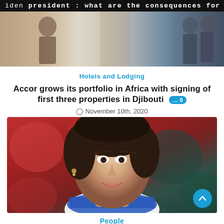iden president : what are the consequences for tourism in th
[Figure (photo): Partial view of people standing, cropped top portion of a news article image]
Hotels and Lodging
Accor grows its portfolio in Africa with signing of first three properties in Djibouti  0
November 10th, 2020
[Figure (photo): Portrait photo of a smiling woman with short dark hair wearing a white jacket and blue scarf, with a blurred red and green background]
People